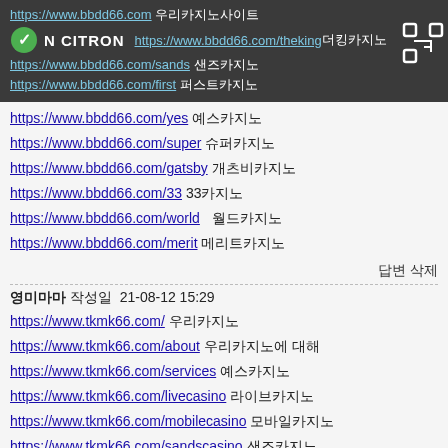N CITRON (logo)
https://www.bbdd66.com/theking 더킹카지노
https://www.bbdd66.com/sands 샌즈카지노
https://www.bbdd66.com/first 퍼스트카지노
https://www.bbdd66.com/yes 예스카지노
https://www.bbdd66.com/super 슈퍼카지노
https://www.bbdd66.com/gatsby 개츠비카지노
https://www.bbdd66.com/33 33카지노
https://www.bbdd66.com/world  월드카지노
https://www.bbdd66.com/merit 메리트카지노
답변 삭제
영미마마 작성일  21-08-12 15:29
https://www.tkmk66.com/ 우리카지노
https://www.tkmk66.com/about 우리카지노에 대해
https://www.tkmk66.com/services 예스카지노
https://www.tkmk66.com/livecasino 라이브카지노
https://www.tkmk66.com/mobilecasino 모바일카지노
https://www.tkmk66.com/sandscasino 샌즈카지노